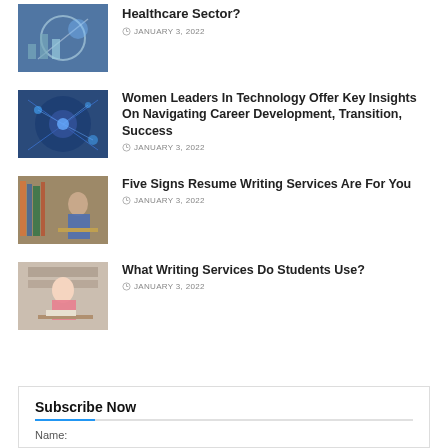[Figure (photo): Thumbnail image of healthcare/technology concept]
Healthcare Sector?
JANUARY 3, 2022
[Figure (photo): Thumbnail image of women in technology, digital network concept]
Women Leaders In Technology Offer Key Insights On Navigating Career Development, Transition, Success
JANUARY 3, 2022
[Figure (photo): Thumbnail image of woman studying in library]
Five Signs Resume Writing Services Are For You
JANUARY 3, 2022
[Figure (photo): Thumbnail image of woman writing at desk with books]
What Writing Services Do Students Use?
JANUARY 3, 2022
Subscribe Now
Name: